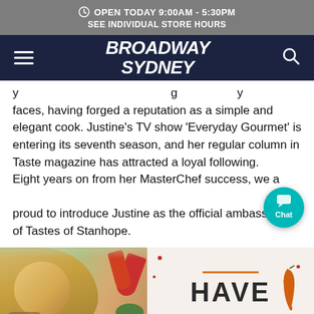OPEN TODAY 9:00AM - 5:30PM
SEE INDIVIDUAL STORE HOURS
BROADWAY SYDNEY
faces, having forged a reputation as a simple and elegant cook. Justine's TV show 'Everyday Gourmet' is entering its seventh season, and her regular column in Taste magazine has attracted a loyal following. Eight years on from her MasterChef success, we are proud to introduce Justine as the official ambassador of Tastes of Stanhope.
[Figure (photo): Photo of a blonde woman on the left side next to colorful vegetables and food items, and on the right side text reading HAVE with an orange line and chili pepper illustration on a white background.]